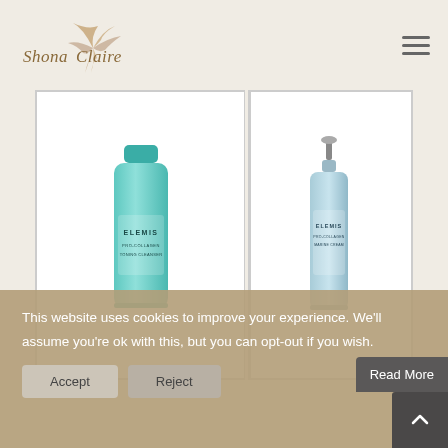Shona Claire — website header with logo and hamburger menu
[Figure (photo): ELEMIS Pro-Collagen Cleansing Balm or toning product in a teal/turquoise bottle on the left]
[Figure (photo): ELEMIS Pro-Collagen Marine Cream or serum product in a light blue/grey pump bottle on the right]
This website uses cookies to improve your experience. We'll assume you're ok with this, but you can opt-out if you wish. Read More
Accept   Reject